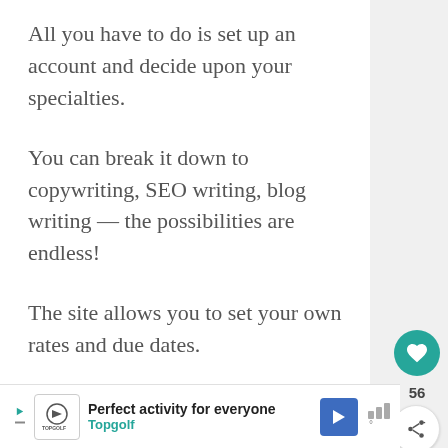All you have to do is set up an account and decide upon your specialties.
You can break it down to copywriting, SEO writing, blog writing — the possibilities are endless!
The site allows you to set your own rates and due dates.
You can charge by the word count or set flat rates, it's completely up to you!
[Figure (other): Advertisement banner for Topgolf: 'Perfect activity for everyone' with Topgolf logo, play button, navigation arrow icon, and signal bars with degree symbol.]